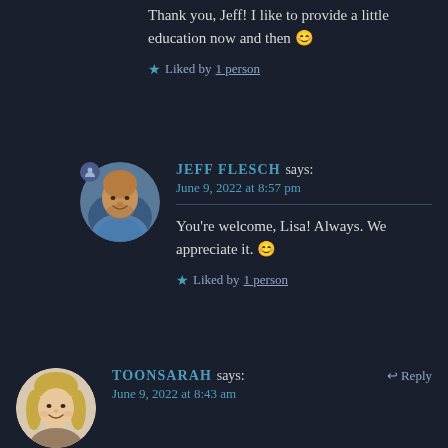Thank you, Jeff! I like to provide a little education now and then 😊
★ Liked by 1 person
JEFF FLESCH says: June 9, 2022 at 8:57 pm
You're welcome, Lisa! Always. We appreciate it. 😊
★ Liked by 1 person
TOONSARAH says: June 9, 2022 at 8:43 am